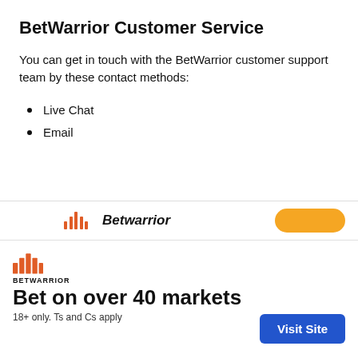BetWarrior Customer Service
You can get in touch with the BetWarrior customer support team by these contact methods:
Live Chat
Email
[Figure (screenshot): BetWarrior app/website partial screenshot showing the BetWarrior logo with orange bars icon and name, and an orange button on the right]
[Figure (logo): BetWarrior logo with orange bars icon and BETWARRIOR text label]
Bet on over 40 markets
18+ only. Ts and Cs apply
Visit Site